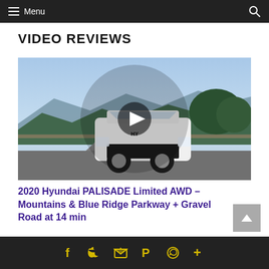☰ Menu
VIDEO REVIEWS
[Figure (screenshot): Video thumbnail of a white Hyundai Palisade SUV on a mountain road with blue sky, trees and mountain views in background. A play button overlay is centered on the image.]
2020 Hyundai PALISADE Limited AWD – Mountains & Blue Ridge Parkway + Gravel Road at 14 min
f  🐦  ✉  P  ◎  +